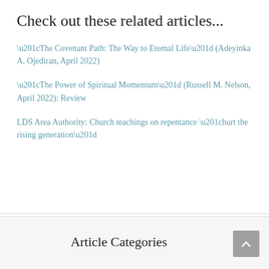Check out these related articles...
“The Covenant Path: The Way to Eternal Life” (Adeyinka A. Ojediran, April 2022)
“The Power of Spiritual Momentum” (Russell M. Nelson, April 2022): Review
LDS Area Authority: Church teachings on repentance “hurt the rising generation”
Article Categories